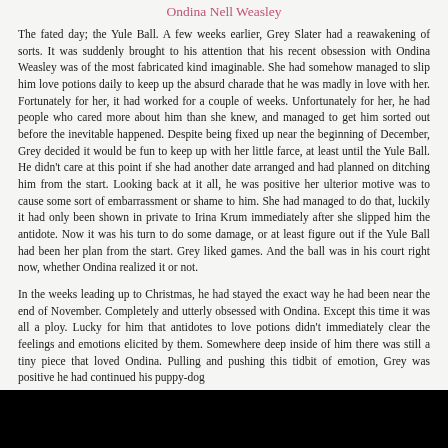Ondina Nell Weasley
The fated day; the Yule Ball. A few weeks earlier, Grey Slater had a reawakening of sorts. It was suddenly brought to his attention that his recent obsession with Ondina Weasley was of the most fabricated kind imaginable. She had somehow managed to slip him love potions daily to keep up the absurd charade that he was madly in love with her. Fortunately for her, it had worked for a couple of weeks. Unfortunately for her, he had people who cared more about him than she knew, and managed to get him sorted out before the inevitable happened. Despite being fixed up near the beginning of December, Grey decided it would be fun to keep up with her little farce, at least until the Yule Ball. He didn't care at this point if she had another date arranged and had planned on ditching him from the start. Looking back at it all, he was positive her ulterior motive was to cause some sort of embarrassment or shame to him. She had managed to do that, luckily it had only been shown in private to Irina Krum immediately after she slipped him the antidote. Now it was his turn to do some damage, or at least figure out if the Yule Ball had been her plan from the start. Grey liked games. And the ball was in his court right now, whether Ondina realized it or not.
In the weeks leading up to Christmas, he had stayed the exact way he had been near the end of November. Completely and utterly obsessed with Ondina. Except this time it was all a ploy. Lucky for him that antidotes to love potions didn't immediately clear the feelings and emotions elicited by them. Somewhere deep inside of him there was still a tiny piece that loved Ondina. Pulling and pushing this tidbit of emotion, Grey was positive he had continued his puppy-dog